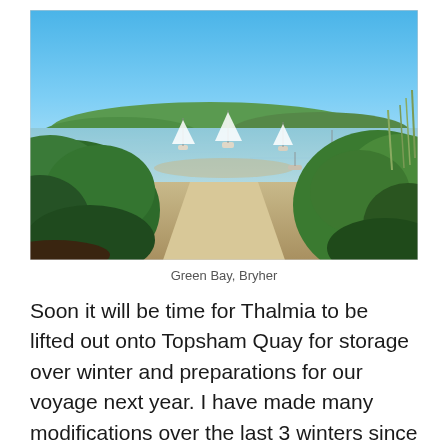[Figure (photo): Coastal harbour scene at Green Bay, Bryher. Blue sky above, green hills in the background, several sailboats moored in calm shallow water. Green bushes frame both sides of a sandy path leading to the water.]
Green Bay, Bryher
Soon it will be time for Thalmia to be lifted out onto Topsham Quay for storage over winter and preparations for our voyage next year. I have made many modifications over the last 3 winters since I bought her, and sailed her back from Hayling Island in November 2016. I think she is well set up for my most